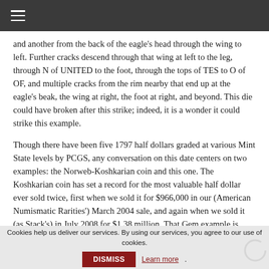☰
and another from the back of the eagle's head through the wing to left. Further cracks descend through that wing at left to the leg, through N of UNITED to the foot, through the tops of TES to O of OF, and multiple cracks from the rim nearby that end up at the eagle's beak, the wing at right, the foot at right, and beyond. This die could have broken after this strike; indeed, it is a wonder it could strike this example.
Though there have been five 1797 half dollars graded at various Mint State levels by PCGS, any conversation on this date centers on two examples: the Norweb-Koshkarian coin and this one. The Koshkarian coin has set a record for the most valuable half dollar ever sold twice, first when we sold it for $966,000 in our (American Numismatic Rarities') March 2004 sale, and again when we sold it (as Stack's) in July 2008 for $1.38 million. That Gem example is graded MS-65+ by PCGS, but this one has been certified even finer. Most observers consider this coin the finest known by a slim margin; after these two, no other comes close, as
Cookies help us deliver our services. By using our services, you agree to our use of cookies. DISMISS Learn more.